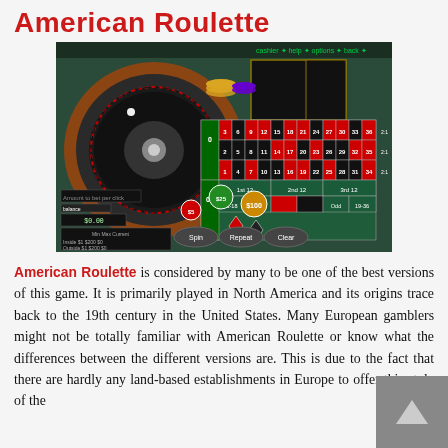American Roulette
[Figure (screenshot): Screenshot of an American Roulette online casino game showing a roulette wheel on the left and a blue betting table layout with red and black number squares. Interface shows balance, min/max bet info, spin/repeat/clear buttons, and casino navigation buttons at top right.]
American Roulette is considered by many to be one of the best versions of this game. It is primarily played in North America and its origins trace back to the 19th century in the United States. Many European gamblers might not be totally familiar with American Roulette or know what the differences between the different versions are. This is due to the fact that there are hardly any land-based establishments in Europe to offer this style of the